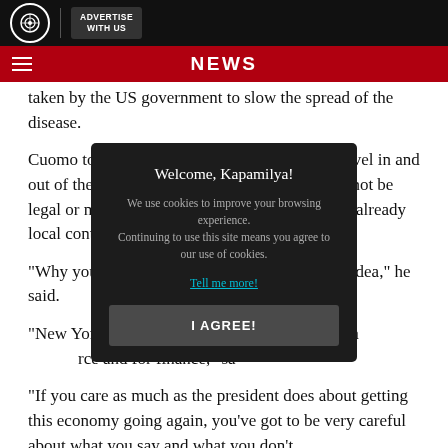NEWS
taken by the US government to slow the spread of the disease.
Cuomo told CNN earlier that a lockdown on travel in and out of the global financial and trade hub would not be legal or make sense -- especially since there are already local controls on movements.
"Why you w... pandemo... no idea," he said.
"New York... Connecticut is the globa... rce and for finance," sa...
"If you care as much as the president does about getting this economy going again, you've got to be very careful about what you say and what you don't
[Figure (screenshot): Cookie consent modal overlay with dark background. Title: 'Welcome, Kapamilya!' Body text: 'We use cookies to improve your browsing experience. Continuing to use this site means you agree to our use of cookies.' Link: 'Tell me more!' Button: 'I AGREE!']